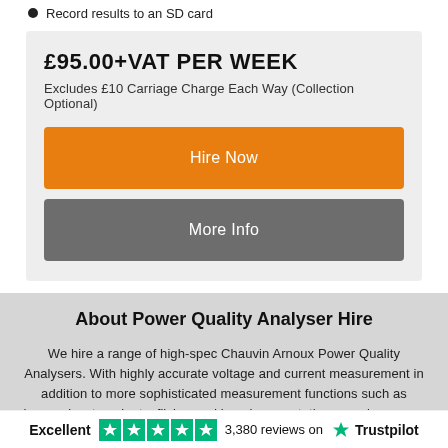Record results to an SD card
£95.00+VAT PER WEEK
Excludes £10 Carriage Charge Each Way (Collection Optional)
About Power Quality Analyser Hire
We hire a range of high-spec Chauvin Arnoux Power Quality Analysers. With highly accurate voltage and current measurement in addition to more sophisticated measurement functions such as harmonics, transients, flicker and inrush current, these analysers are ideal for mapping consumption and identifying issues. We hire both
Excellent  3,380 reviews on  Trustpilot